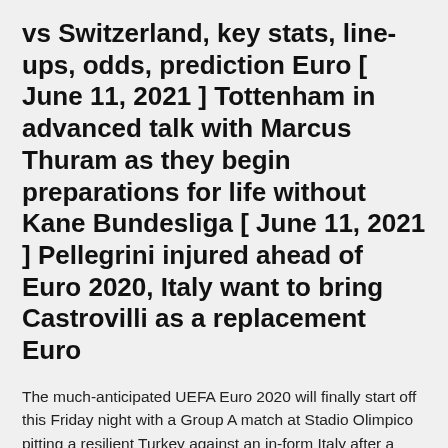vs Switzerland, key stats, line-ups, odds, prediction Euro [ June 11, 2021 ] Tottenham in advanced talk with Marcus Thuram as they begin preparations for life without Kane Bundesliga [ June 11, 2021 ] Pellegrini injured ahead of Euro 2020, Italy want to bring Castrovilli as a replacement Euro
The much-anticipated UEFA Euro 2020 will finally start off this Friday night with a Group A match at Stadio Olimpico pitting a resilient Turkey against an in-form Italy after a year-long postponement due to the pandemic. · Wales take on Switzerland in their opening Euro 2020 game at 2pm (BST).
Italy and Turkey got the party started in Rome, where the...